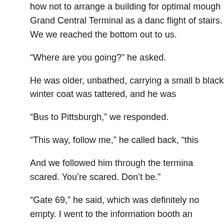how not to arrange a building for optimal movement. He led us through Grand Central Terminal as a dancer would, down a flight of stairs. We we reached the bottom and he held out to us.
“Where are you going?” he asked.
He was older, unbathed, carrying a small b black winter coat was tattered, and he was
“Bus to Pittsburgh,” we responded.
“This way, follow me,” he called back, “this
And we followed him through the termina scared. You’re scared. Don’t be.”
“Gate 69,” he said, which was definitely no empty. I went to the information booth an
“Gate 69 or 70,” said the only information
We walked over to gate 70. On our way, o